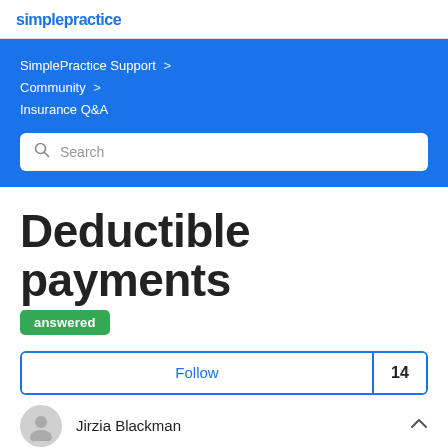SimplePractice
SimplePractice Support > Community > Insurance Q&A
Search
Deductible payments answered
Follow 14
Jirzia Blackman